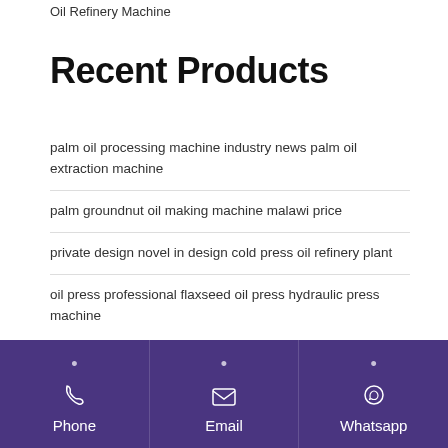Oil Refinery Machine
Recent Products
palm oil processing machine industry news palm oil extraction machine
palm groundnut oil making machine malawi price
private design novel in design cold press oil refinery plant
oil press professional flaxseed oil press hydraulic press machine
Phone | Email | Whatsapp